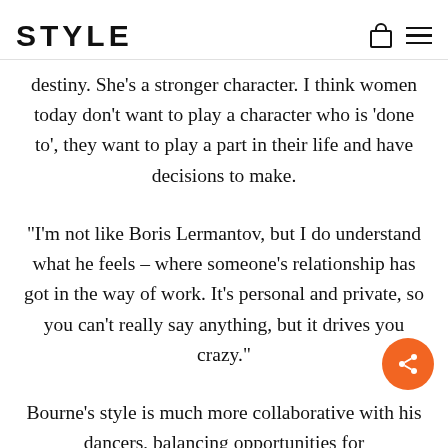STYLE
destiny. She's a stronger character. I think women today don't want to play a character who is 'done to', they want to play a part in their life and have decisions to make.
“I’m not like Boris Lermantov, but I do understand what he feels – where someone’s relationship has got in the way of work. It’s personal and private, so you can’t really say anything, but it drives you crazy.”
Bourne’s style is much more collaborative with his dancers, balancing opportunities for